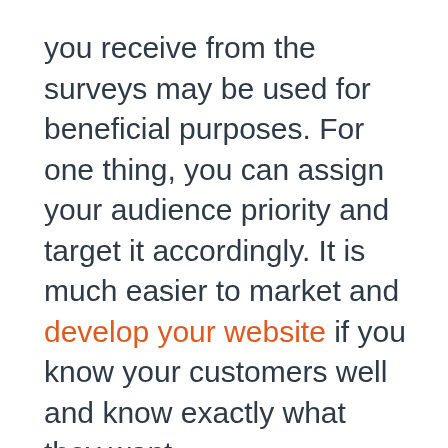you receive from the surveys may be used for beneficial purposes. For one thing, you can assign your audience priority and target it accordingly. It is much easier to market and develop your website if you know your customers well and know exactly what they want.
Let us have a look at the best survey software's for WordPress that can help you in making a good quiz for your website.